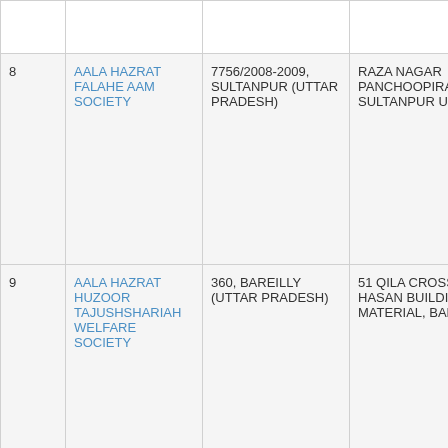| # | Name | Registration | Address |
| --- | --- | --- | --- |
| 8 | AALA HAZRAT FALAHE AAM SOCIETY | 7756/2008-2009, SULTANPUR (UTTAR PRADESH) | RAZA NAGAR PANCHOOPIRAN SULTANPUR UP |
| 9 | AALA HAZRAT HUZOOR TAJUSHSHARIAH WELFARE SOCIETY | 360, BAREILLY (UTTAR PRADESH) | 51 QILA CROSSING HASAN BUILDING MATERIAL, BAREILLY |